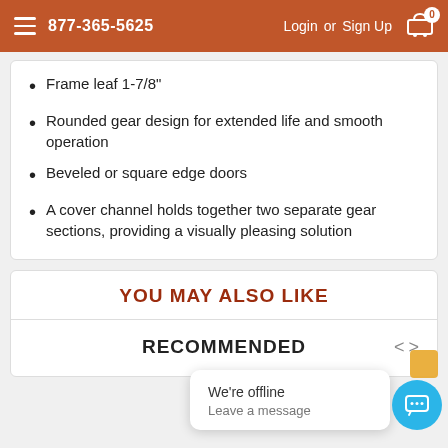877-365-5625  Login or Sign Up
Frame leaf 1-7/8"
Rounded gear design for extended life and smooth operation
Beveled or square edge doors
A cover channel holds together two separate gear sections, providing a visually pleasing solution
YOU MAY ALSO LIKE
RECOMMENDED
We're offline
Leave a message